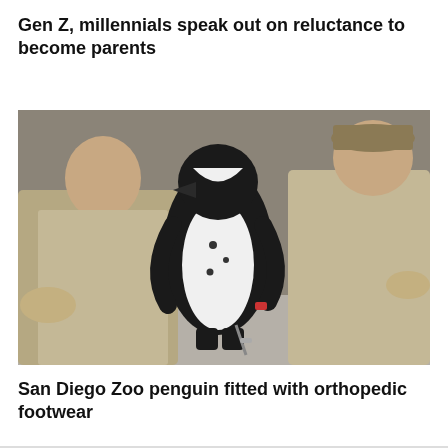Gen Z, millennials speak out on reluctance to become parents
[Figure (photo): A penguin standing on a concrete floor between two zoo keepers dressed in khaki uniforms who are kneeling beside it. The penguin is black and white with a small orthopedic device on its foot. Background shows a stone/rock wall.]
San Diego Zoo penguin fitted with orthopedic footwear